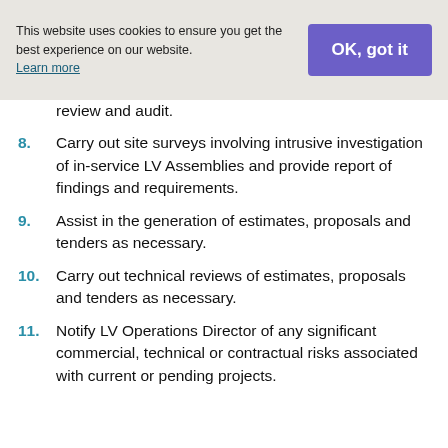This website uses cookies to ensure you get the best experience on our website. Learn more | OK, got it
review and audit.
8. Carry out site surveys involving intrusive investigation of in-service LV Assemblies and provide report of findings and requirements.
9. Assist in the generation of estimates, proposals and tenders as necessary.
10. Carry out technical reviews of estimates, proposals and tenders as necessary.
11. Notify LV Operations Director of any significant commercial, technical or contractual risks associated with current or pending projects.